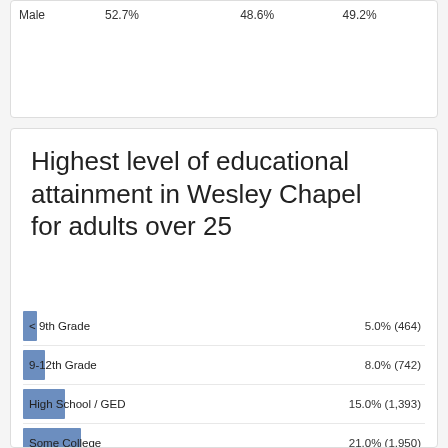|  |  |  |  |
| --- | --- | --- | --- |
| Male | 52.7% | 48.6% | 49.2% |
Highest level of educational attainment in Wesley Chapel for adults over 25
[Figure (bar-chart): Highest level of educational attainment in Wesley Chapel for adults over 25]